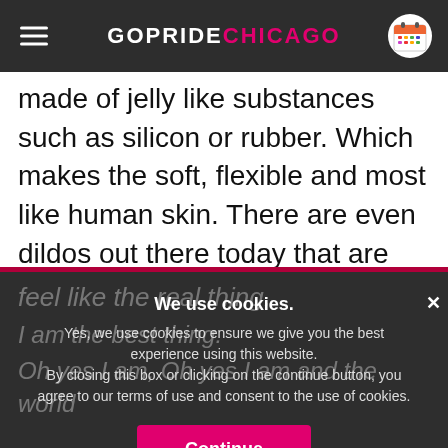GOPRIDE CHICAGO
made of jelly like substances such as silicon or rubber. Which makes the soft, flexible and most like human skin. There are even dildos out there today that are covered in something called “Cyber skin” that look and
feel like the real thing.
[Figure (screenshot): Cookie consent overlay on GoPride Chicago website with message: We use cookies. Yes, we use cookies to ensure we give you the best experience using this website. By closing this box or clicking on the continue button, you agree to our terms of use and consent to the use of cookies. Continue button in pink/red.]